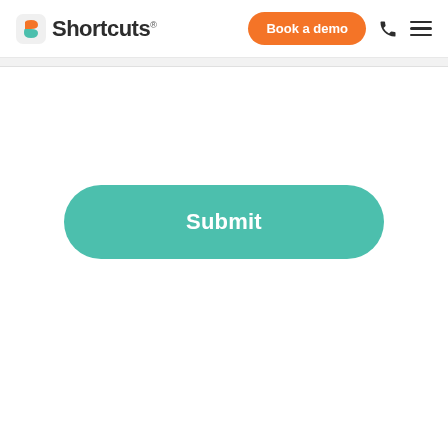Shortcuts — Book a demo
[Figure (screenshot): Submit button — teal/green rounded pill button with white text reading 'Submit' centered on a white background page]